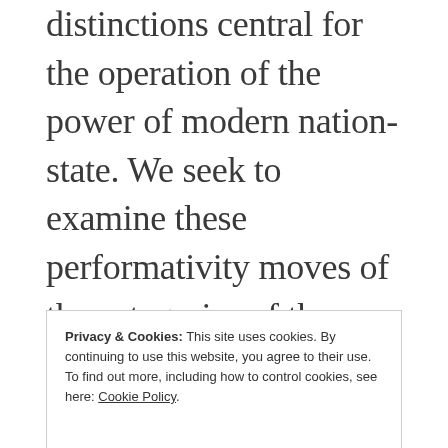distinctions central for the operation of the power of modern nation-state. We seek to examine these performativity moves of the categories of the religious and the secular through specific case studies of East and Southeast Asia. Second, the secular public
Privacy & Cookies: This site uses cookies. By continuing to use this website, you agree to their use. To find out more, including how to control cookies, see here: Cookie Policy.
Close and accept
religion: Questioning the 'Secular